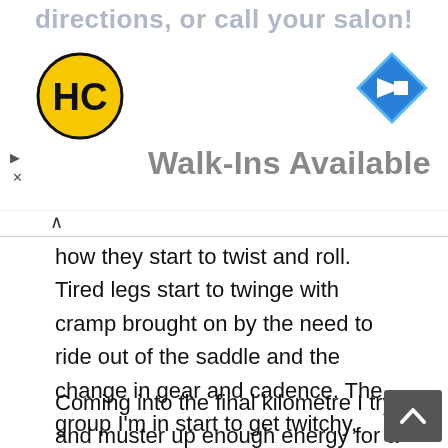[Figure (advertisement): Advertisement banner with HC logo (black circle with HC letters on yellow background), navigation arrow icon (blue diamond with white arrow), play and close icons, and 'Walk-Ins Available' text in grey.]
how they start to twist and roll. Tired legs start to twinge with cramp brought on by the need to ride out of the saddle and the change in gear and cadence. The group I'm in start to get twitchy, riders burst from the bunch, I try and follow as many as I can, all while punching and massaging my thigh, like some kind of sado-masochist!
Coming into the final kilometre I try and muster up enough energy for a sprint, but settle for a half-hearted acceleration in the final fifty that